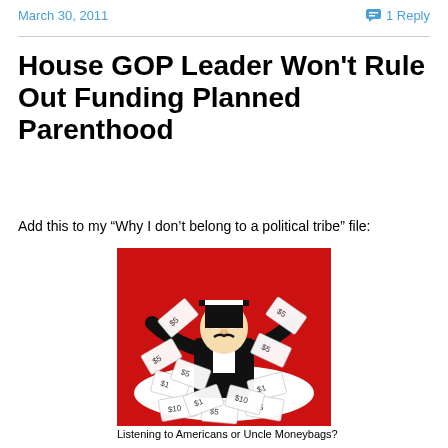March 30, 2011   1 Reply
House GOP Leader Won't Rule Out Funding Planned Parenthood
Add this to my “Why I don’t belong to a political tribe” file:
[Figure (illustration): Cartoon illustration of Monopoly Man (Uncle Moneybags) in a top hat and tuxedo surrounded by money bills on a red background]
Listening to Americans or Uncle Moneybags?